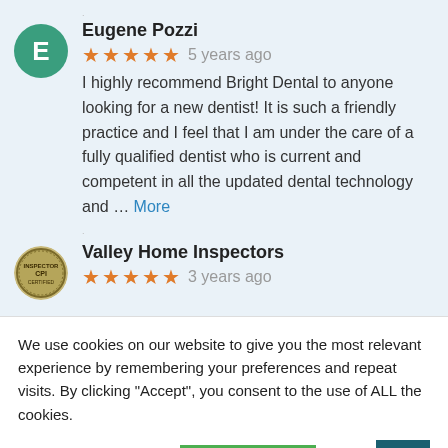Eugene Pozzi
★★★★★ 5 years ago
I highly recommend Bright Dental to anyone looking for a new dentist! It is such a friendly practice and I feel that I am under the care of a fully qualified dentist who is current and competent in all the updated dental technology and … More
Valley Home Inspectors
★★★★★ 3 years ago
We use cookies on our website to give you the most relevant experience by remembering your preferences and repeat visits. By clicking "Accept", you consent to the use of ALL the cookies.
Cookie settings
ACCEPT